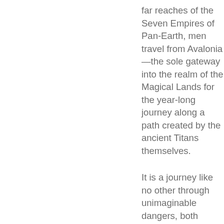far reaches of the Seven Empires of Pan-Earth, men travel from Avalonia—the sole gateway into the realm of the Magical Lands for the year-long journey along a path created by the ancient Titans themselves.
It is a journey like no other through unimaginable dangers, both mortal and magical, of men and monsters, by